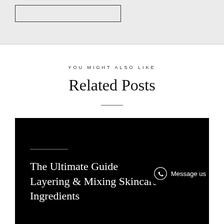[Figure (other): Grey top section with a rectangular outline box]
YOU MIGHT ALSO LIKE
Related Posts
[Figure (photo): Black card image panel with a white horizontal line accent and article title text: 'The Ultimate Guide Layering & Mixing Skincare Ingredients', plus a WhatsApp Message us button on the right side]
The Ultimate Guide Layering & Mixing Skincare Ingredients
Message us